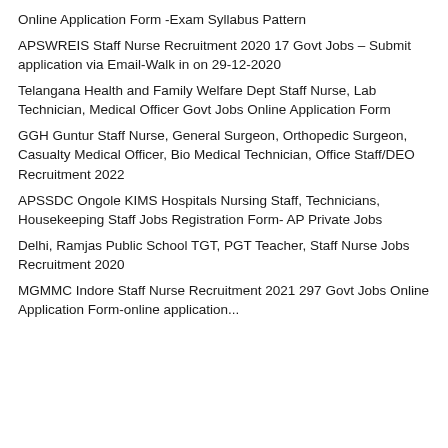Online Application Form -Exam Syllabus Pattern
APSWREIS Staff Nurse Recruitment 2020 17 Govt Jobs – Submit application via Email-Walk in on 29-12-2020
Telangana Health and Family Welfare Dept Staff Nurse, Lab Technician, Medical Officer Govt Jobs Online Application Form
GGH Guntur Staff Nurse, General Surgeon, Orthopedic Surgeon, Casualty Medical Officer, Bio Medical Technician, Office Staff/DEO Recruitment 2022
APSSDC Ongole KIMS Hospitals Nursing Staff, Technicians, Housekeeping Staff Jobs Registration Form- AP Private Jobs
Delhi, Ramjas Public School TGT, PGT Teacher, Staff Nurse Jobs Recruitment 2020
MGMMC Indore Staff Nurse Recruitment 2021 297 Govt Jobs Online Application Form-online application...